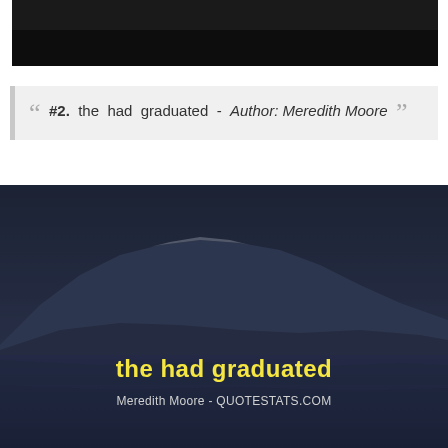[Figure (photo): Dark/black image at the top of the page, appears to be a partial photo with dark background]
“ #2. the had graduated - Author: Meredith Moore ”
[Figure (photo): Mountain landscape with snow-capped peaks reflected in a lake, dark moody atmosphere with overlay text. Yellow bold text reads 'the had graduated' and attribution 'Meredith Moore - QUOTESTATS.COM' in white below.]